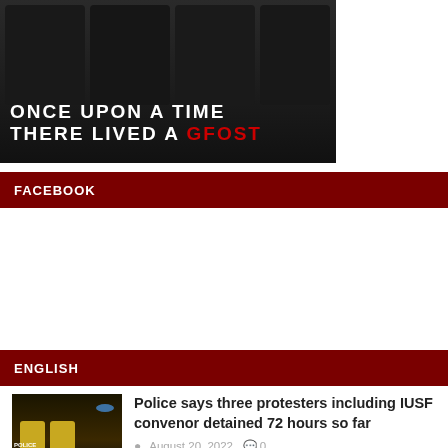[Figure (illustration): Movie promotional banner in black and white showing group of men, text reads 'ONCE UPON A TIME THERE LIVED A GFOST' with GFOST in red]
FACEBOOK
ENGLISH
Police says three protesters including IUSF convenor detained 72 hours so far
August 20, 2022   0
[Figure (photo): Police officers in yellow vests at night scene]